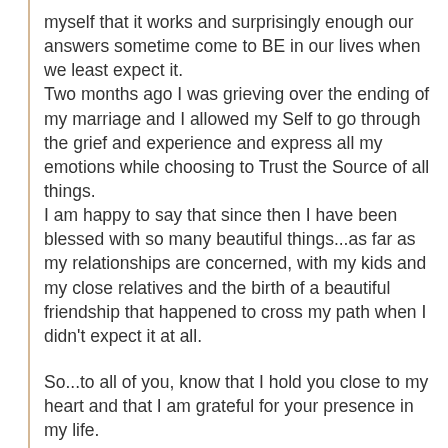myself that it works and surprisingly enough our answers sometime come to BE in our lives when we least expect it.
Two months ago I was grieving over the ending of my marriage and I allowed my Self to go through the grief and experience and express all my emotions while choosing to Trust the Source of all things.
I am happy to say that since then I have been blessed with so many beautiful things...as far as my relationships are concerned, with my kids and my close relatives and the birth of a beautiful friendship that happened to cross my path when I didn't expect it at all.

So...to all of you, know that I hold you close to my heart and that I am grateful for your presence in my life.